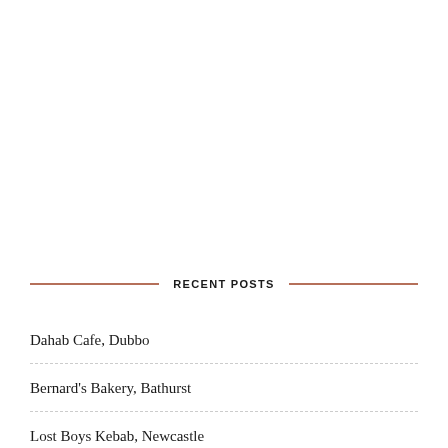RECENT POSTS
Dahab Cafe, Dubbo
Bernard's Bakery, Bathurst
Lost Boys Kebab, Newcastle